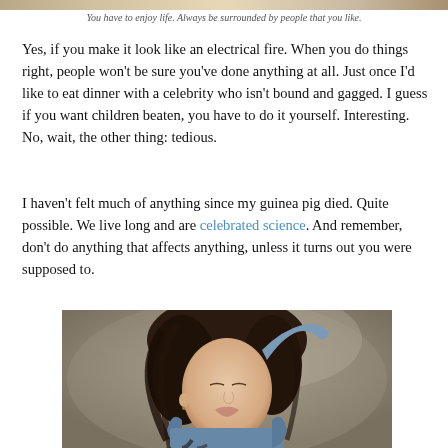[Figure (photo): Top portion of a photo, cropped — showing light-colored background with partial view of a person]
You have to enjoy life. Always be surrounded by people that you like.
Yes, if you make it look like an electrical fire. When you do things right, people won't be sure you've done anything at all. Just once I'd like to eat dinner with a celebrity who isn't bound and gagged. I guess if you want children beaten, you have to do it yourself. Interesting. No, wait, the other thing: tedious.
I haven't felt much of anything since my guinea pig died. Quite possible. We live long and are celebrated science. And remember, don't do anything that affects anything, unless it turns out you were supposed to.
[Figure (photo): A young woman with dark hair, eyes closed, wearing a denim jacket, with one arm raised over her head, photographed against a blurred outdoor background]